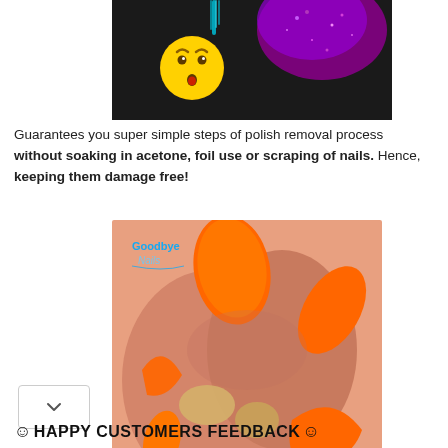[Figure (photo): Photo showing a glittery purple nail polish being applied, with an emoji (surprised face) overlaid on the image.]
Guarantees you super simple steps of polish removal process without soaking in acetone, foil use or scraping of nails. Hence,  keeping them damage free!
[Figure (photo): Close-up photo of orange artificial nails being peeled off fingers, with a 'Goodbye Nails' logo watermark in the top left.]
HAPPY CUSTOMERS FEEDBACK